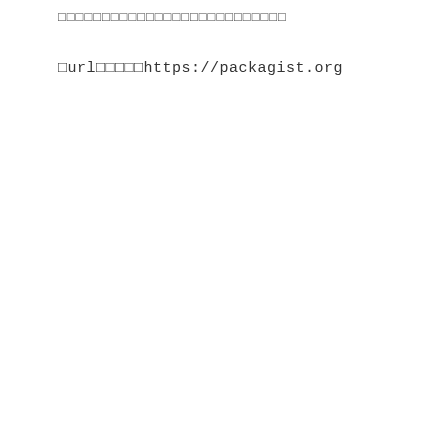□□□□□□□□□□□□□□□□□□□□□□□□□□
□url□□□□□https://packagist.org